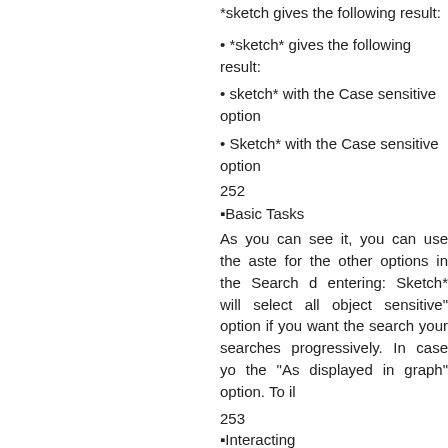*sketch gives the following result:
• *sketch* gives the following result:
• sketch* with the Case sensitive option
• Sketch* with the Case sensitive option
252
▪Basic Tasks
As you can see it, you can use the aste for the other options in the Search d entering: Sketch* will select all object sensitive" option if you want the search your searches progressively. In case yo the "As displayed in graph" option. To il
253
▪Interacting
... whose name usually appears the foll
Let's suppose you customize display i the following data: